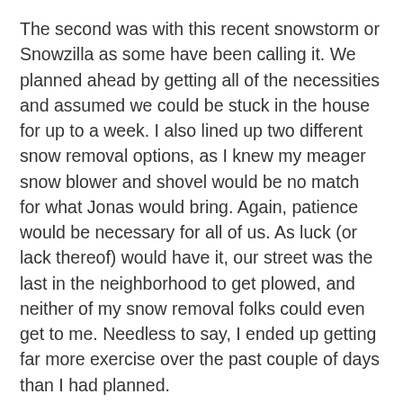The second was with this recent snowstorm or Snowzilla as some have been calling it. We planned ahead by getting all of the necessities and assumed we could be stuck in the house for up to a week. I also lined up two different snow removal options, as I knew my meager snow blower and shovel would be no match for what Jonas would bring. Again, patience would be necessary for all of us. As luck (or lack thereof) would have it, our street was the last in the neighborhood to get plowed, and neither of my snow removal folks could even get to me. Needless to say, I ended up getting far more exercise over the past couple of days than I had planned.
Finally, the recent market behavior has been a less than friendly reminder to have both patience and a plan when it comes to investing. We all need to